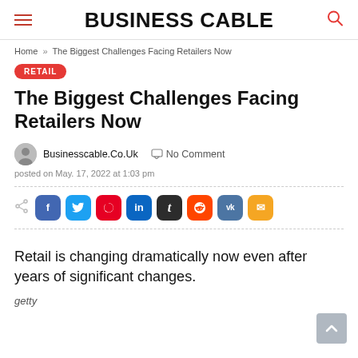BUSINESS CABLE
Home » The Biggest Challenges Facing Retailers Now
RETAIL
The Biggest Challenges Facing Retailers Now
Businesscable.Co.Uk   No Comment
posted on May. 17, 2022 at 1:03 pm
Retail is changing dramatically now even after years of significant changes.
getty